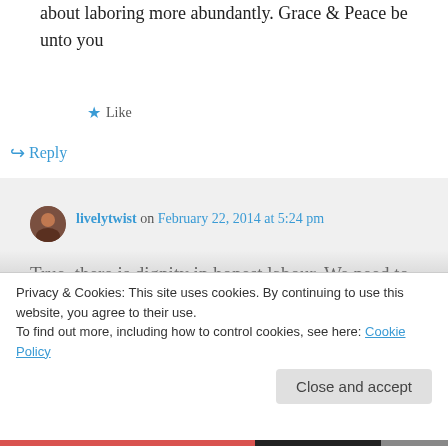about laboring more abundantly. Grace & Peace be unto you
★ Like
↪ Reply
livelytwist on February 22, 2014 at 5:24 pm
True, there is dignity in honest labour. We need to believe it enough, see it
Privacy & Cookies: This site uses cookies. By continuing to use this website, you agree to their use.
To find out more, including how to control cookies, see here: Cookie Policy
Close and accept